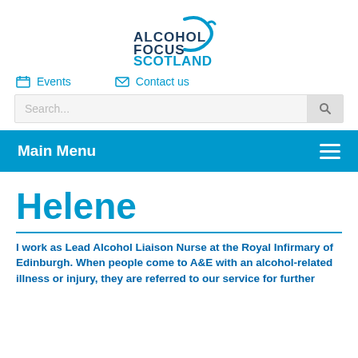[Figure (logo): Alcohol Focus Scotland logo — stylized droplet arc above bold text ALCOHOL FOCUS SCOTLAND in dark blue/teal]
Events
Contact us
Search...
Main Menu
Helene
I work as Lead Alcohol Liaison Nurse at the Royal Infirmary of Edinburgh. When people come to A&E with an alcohol-related illness or injury, they are referred to our service for further